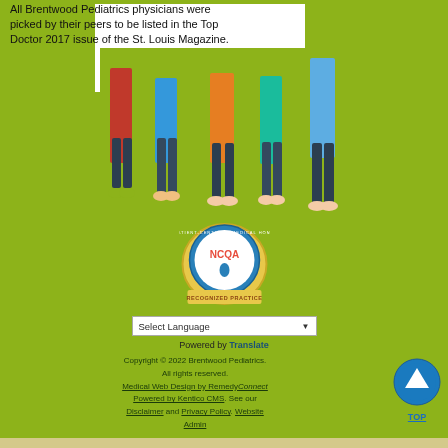[Figure (photo): Photo of children's lower bodies holding a white board, on a green background, with text overlay about Brentwood Pediatrics physicians being Top Doctor 2017 in St. Louis Magazine]
All Brentwood Pediatrics physicians were picked by their peers to be listed in the Top Doctor 2017 issue of the St. Louis Magazine.
[Figure (logo): NCQA Patient-Centered Medical Home Recognized Practice badge/seal]
Select Language
Powered by Translate
Copyright © 2022 Brentwood Pediatrics. All rights reserved. Medical Web Design by RemedyConnect Powered by Kentico CMS. See our Disclaimer and Privacy Policy. Website Admin
TOP